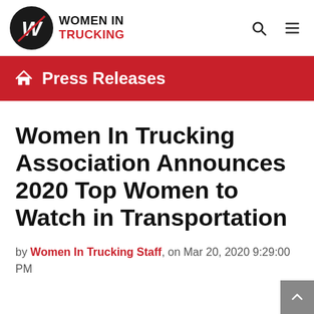[Figure (logo): Women In Trucking logo — black circle with stylized W, beside bold text 'WOMEN IN TRUCKING' where TRUCKING is in red]
Press Releases
Women In Trucking Association Announces 2020 Top Women to Watch in Transportation
by Women In Trucking Staff, on Mar 20, 2020 9:29:00 PM